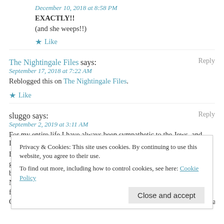December 10, 2018 at 8:58 PM
EXACTLY!!
(and she weeps!!)
★ Like
The Nightingale Files says:
Reply
September 17, 2018 at 7:22 AM
Reblogged this on The Nightingale Files.
★ Like
sluggo says:
Reply
September 2, 2019 at 3:11 AM
For my entire life I have always been sympathetic to the Jews, and Israel.
Privacy & Cookies: This site uses cookies. By continuing to use this website, you agree to their use.
To find out more, including how to control cookies, see here: Cookie Policy
Close and accept
OUR country, with the real purpose do eradicate the racial, and political